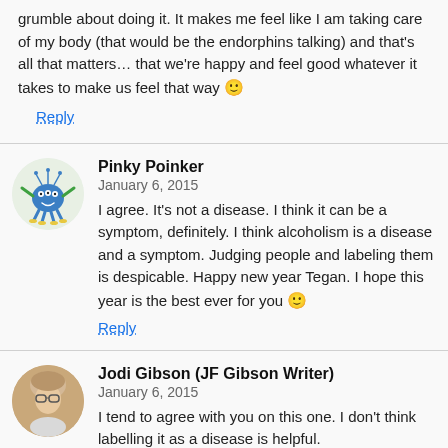grumble about doing it. It makes me feel like I am taking care of my body (that would be the endorphins talking) and that's all that matters… that we're happy and feel good whatever it takes to make us feel that way 🙂
Reply
Pinky Poinker
January 6, 2015
I agree. It's not a disease. I think it can be a symptom, definitely. I think alcoholism is a disease and a symptom. Judging people and labeling them is despicable. Happy new year Tegan. I hope this year is the best ever for you 🙂
Reply
Jodi Gibson (JF Gibson Writer)
January 6, 2015
I tend to agree with you on this one. I don't think labelling it as a disease is helpful.
Reply